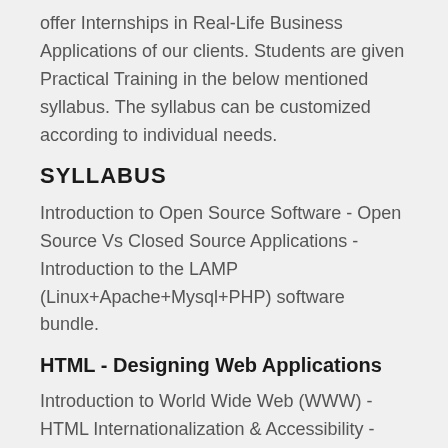offer Internships in Real-Life Business Applications of our clients. Students are given Practical Training in the below mentioned syllabus. The syllabus can be customized according to individual needs.
SYLLABUS
Introduction to Open Source Software - Open Source Vs Closed Source Applications - Introduction to the LAMP (Linux+Apache+Mysql+PHP) software bundle.
HTML - Designing Web Applications
Introduction to World Wide Web (WWW) - HTML Internationalization & Accessibility - Character Encoding & References - Document Structure - Meta Tag & Heading Elements - DIV, SPAN and ADDRESS - Text Direction - INS & DEL Tags - Lists